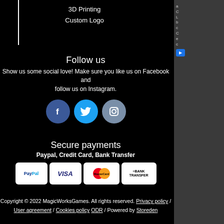3D Printing
Custom Logo
Follow us
Show us some social love! Make sure you like us on Facebook and follow us on Instagram.
[Figure (illustration): Three social media icons: Facebook (blue circle with f), Twitter (light blue circle with bird), Instagram (grey-blue circle with camera)]
Secure payments
Paypal, Credit Card, Bank Transfer
[Figure (logo): Payment method logos: PayPal, VISA, MasterCard, BANK TRANSFER on white rounded rectangles]
Copyright © 2022 MagicWorksGames. All rights reserved. Privacy policy / User agreement / Cookies policy ODR / Powered by Storeden